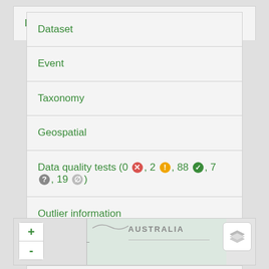Dataset
Event
Taxonomy
Geospatial
Data quality tests (0 ✗, 2 !, 88 ✓, 7 ?, 19 ∅)
Outlier information
Additional political boundaries information
Environmental sampling for this location
[Figure (map): Map showing Australia with zoom controls and layer switcher button]